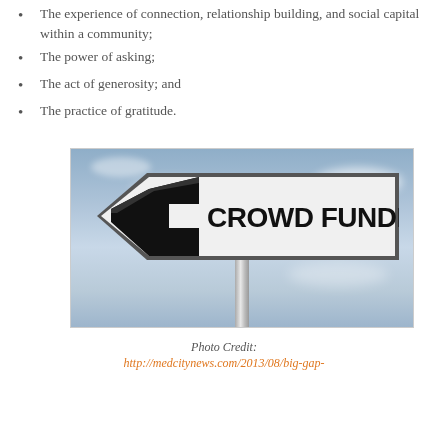The experience of connection, relationship building, and social capital within a community;
The power of asking;
The act of generosity; and
The practice of gratitude.
[Figure (photo): A road sign shaped directional arrow pointing left with the text CROWD FUNDING in large bold black letters, mounted on a metal pole against a cloudy blue sky background.]
Photo Credit:
http://medcitynews.com/2013/08/big-gap-